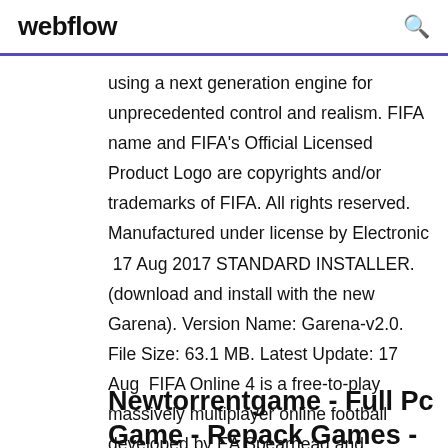webflow
using a next generation engine for unprecedented control and realism. FIFA name and FIFA's Official Licensed Product Logo are copyrights and/or trademarks of FIFA. All rights reserved. Manufactured under license by Electronic  17 Aug 2017 STANDARD INSTALLER. (download and install with the new Garena). Version Name: Garena-v2.0. File Size: 63.1 MB. Latest Update: 17 Aug  FIFA Online 4 is a free-to-play massively multiplayer online football developed by EA Spearhead and published by Nexon. It was announced on 2 November
Newtorrentgame - Full Pc Game - Repack Games - Crack Download